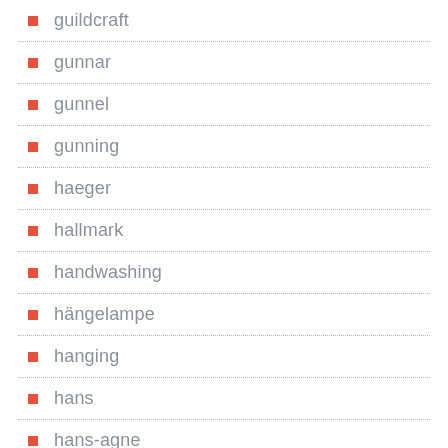guildcraft
gunnar
gunnel
gunning
haeger
hallmark
handwashing
hängelampe
hanging
hans
hans-agne